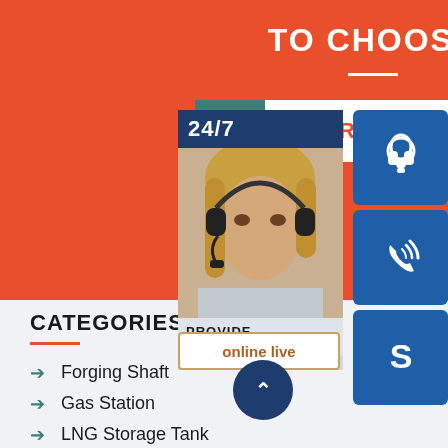TO CHOOSE
LEARN MORE
[Figure (infographic): Customer support overlay widget showing 24/7 support text, a woman with headset photo, three blue icon buttons (headset, phone, Skype), a PROVIDE/Empowering Customers text block, an online live button, and an up-arrow navigation button]
CATEGORIES
Forging Shaft
Gas Station
LNG Storage Tank